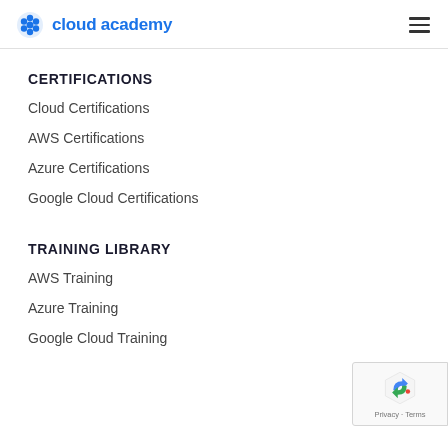cloud academy
CERTIFICATIONS
Cloud Certifications
AWS Certifications
Azure Certifications
Google Cloud Certifications
TRAINING LIBRARY
AWS Training
Azure Training
Google Cloud Training